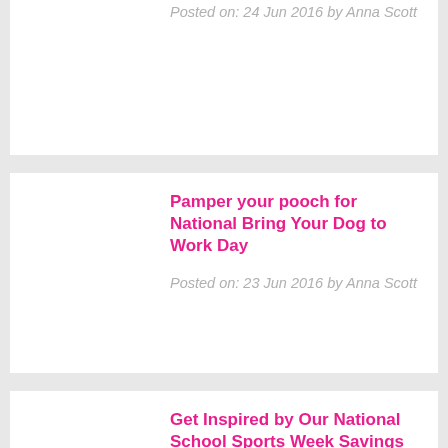Posted on: 24 Jun 2016 by Anna Scott
Pamper your pooch for National Bring Your Dog to Work Day
Posted on: 23 Jun 2016 by Anna Scott
Get Inspired by Our National School Sports Week Savings
Posted on: 22 Jun 2016 by Anna Scott